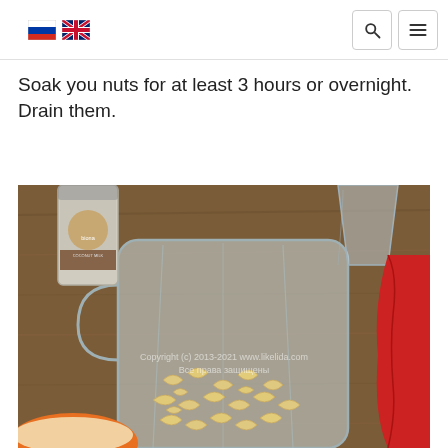[Russian flag] [UK flag] [Search icon] [Menu icon]
Soak you nuts for at least 3 hours or overnight. Drain them.
[Figure (photo): A blender jar containing cashew nuts sits on a wooden countertop. Behind it is a can of coconut milk (Biona brand), a glass measuring cup, and a red blender body. In the foreground is an orange bowl. A watermark reads 'Copyright (c) 2013-2021 www.likelida.com Все права защищены']